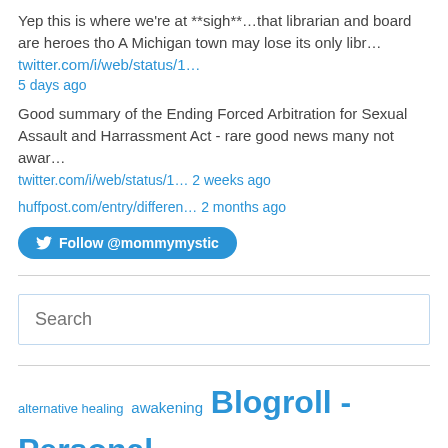Yep this is where we're at **sigh**…that librarian and board are heroes tho A Michigan town may lose its only libr… twitter.com/i/web/status/1… 5 days ago
Good summary of the Ending Forced Arbitration for Sexual Assault and Harrassment Act - rare good news many not awar… twitter.com/i/web/status/1… 2 weeks ago
huffpost.com/entry/differen… 2 months ago
Follow @mommymystic
Search
alternative healing awakening Blogroll - Personal Growth and Spirituality